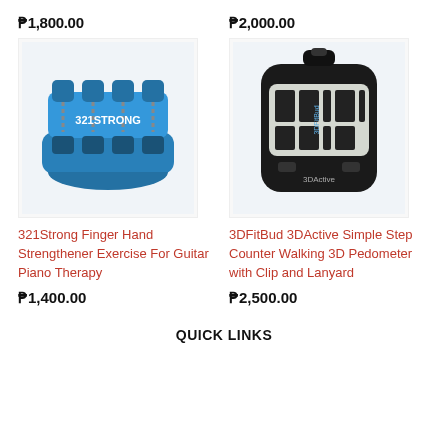₱1,800.00
₱2,000.00
[Figure (photo): 321Strong blue finger hand strengthener exercise device with springs and finger slots]
[Figure (photo): 3DFitBud 3DActive digital pedometer step counter with clip and lanyard, black with LCD display]
321Strong Finger Hand Strengthener Exercise For Guitar Piano Therapy
₱1,400.00
3DFitBud 3DActive Simple Step Counter Walking 3D Pedometer with Clip and Lanyard
₱2,500.00
QUICK LINKS